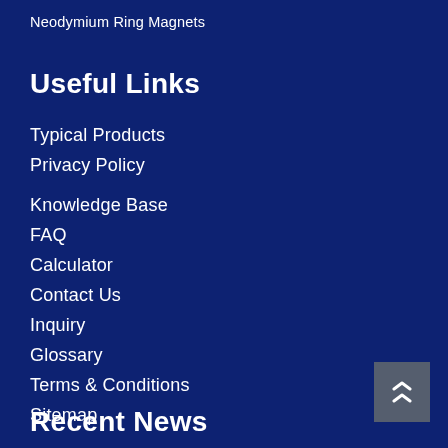Neodymium Ring Magnets
Useful Links
Typical Products
Privacy Policy
Knowledge Base
FAQ
Calculator
Contact Us
Inquiry
Glossary
Terms & Conditions
Sitemap
Recent News